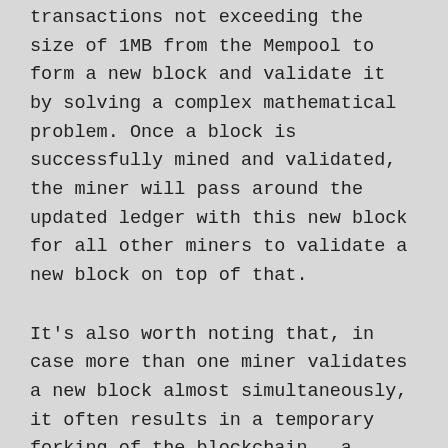transactions not exceeding the size of 1MB from the Mempool to form a new block and validate it by solving a complex mathematical problem. Once a block is successfully mined and validated, the miner will pass around the updated ledger with this new block for all other miners to validate a new block on top of that.
It's also worth noting that, in case more than one miner validates a new block almost simultaneously, it often results in a temporary forking of the blockchain – a chain of blocks with two